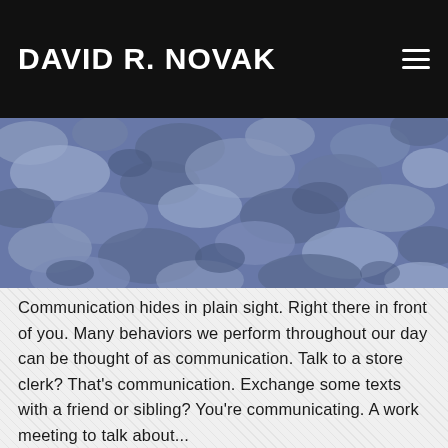DAVID R. NOVAK
[Figure (photo): Blue and grey camouflage pattern texture used as a hero banner image]
Communication hides in plain sight. Right there in front of you. Many behaviors we perform throughout our day can be thought of as communication. Talk to a store clerk? That's communication. Exchange some texts with a friend or sibling? You're communicating. A work meeting to talk about...